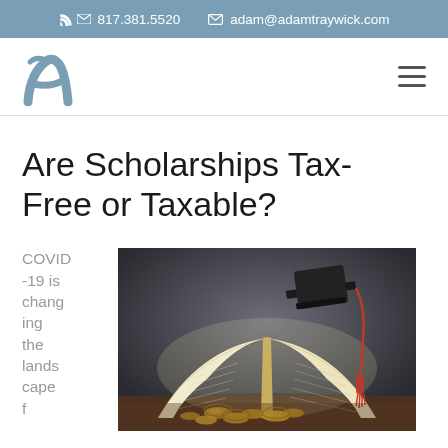817.381.5520   adam@adamtraywick.com
[Figure (logo): Adam Traywick logo — stylized letter 'a' in steel blue]
Are Scholarships Tax-Free or Taxable?
COVID-19 is changing the landscape f…
[Figure (photo): Open book with a graduation cap and tassel resting on top, surrounded by gold coins on a wooden surface]